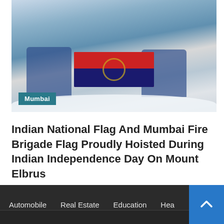[Figure (photo): Two people in blue winter gear kneeling on a snowy mountain summit holding a red and blue flag (Mumbai Fire Brigade flag) with a Mumbai category tag overlay]
Indian National Flag And Mumbai Fire Brigade Flag Proudly Hoisted During Indian Independence Day On Mount Elbrus
2 days ago
Automobile   Real Estate   Education   Hea...